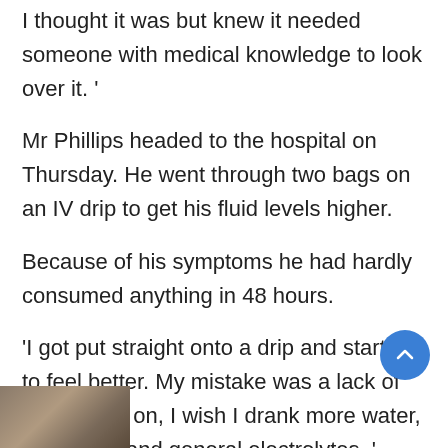I thought it was but knew it needed someone with medical knowledge to look over it. '
Mr Phillips headed to the hospital on Thursday. He went through two bags on an IV drip to get his fluid levels higher.
Because of his symptoms he had hardly consumed anything in 48 hours.
'I got put straight onto a drip and started to feel better. My mistake was a lack of fluids early on, I wish I drank more water, Gatorade, and general electrolytes. '
[Figure (photo): Partial photo strip visible at the bottom of the page]